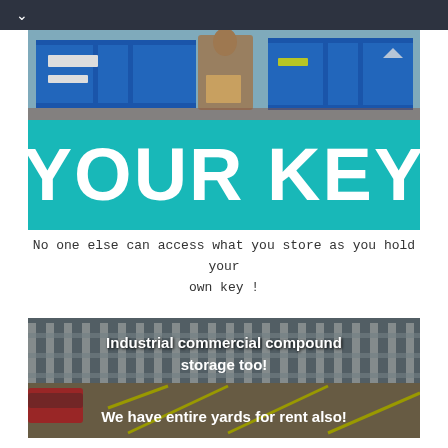[Figure (photo): Photo of blue storage containers with a person carrying a box]
[Figure (illustration): Teal banner with large white bold text reading YOUR KEY]
No one else can access what you store as you hold your own key !
[Figure (photo): Industrial yard photo with overlay text: Industrial commercial compound storage too! We have entire yards for rent also!]